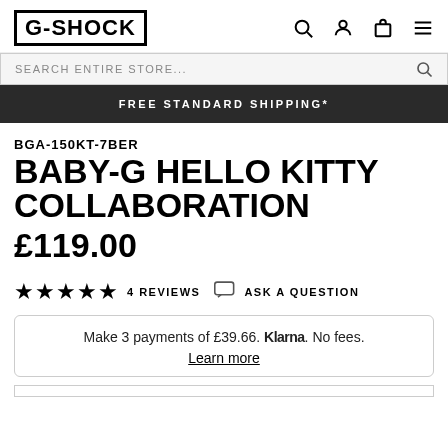G-SHOCK
SEARCH ENTIRE STORE...
FREE STANDARD SHIPPING*
BGA-150KT-7BER
BABY-G HELLO KITTY COLLABORATION
£119.00
★★★★★  4 REVIEWS  💬 ASK A QUESTION
Make 3 payments of £39.66. Klarna. No fees.
Learn more